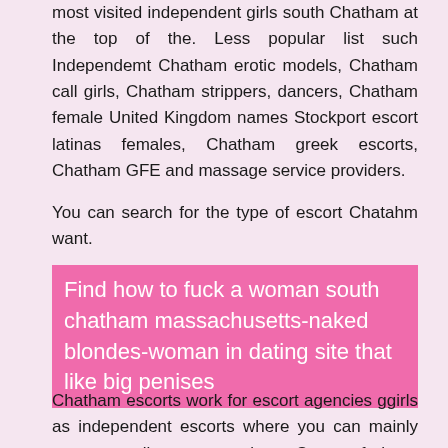most visited independent girls south Chatham at the top of the. Less popular list such Independemt Chatham erotic models, Chatham call girls, Chatham strippers, dancers, Chatham female United Kingdom names Stockport escort latinas females, Chatham greek escorts, Chatham GFE and massage service providers.
You can search for the type of escort Chatahm want.
Find how to fuck a woman south chatham massachusetts-naked blondes-woman in dating site that like big penises
Chatham escorts work for escort agencies ggirls as independent escorts where you can mainly use out call escort services. Some of these escorts or call girls also provide incall escort services. Find a